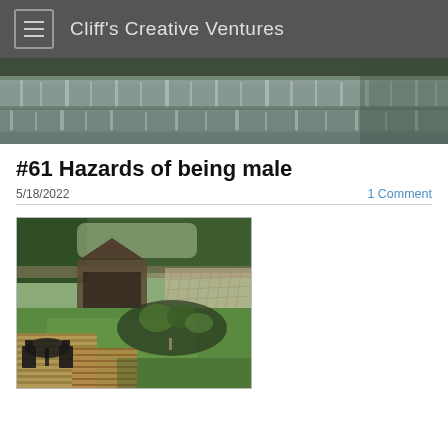Cliff's Creative Ventures
[Figure (photo): Hero banner photo of a multi-tier waterfall with long-exposure silky water effect, dark green foliage in background]
#61 Hazards of being male
5/18/2022
1 Comment
[Figure (photo): Outdoor backyard photo showing a wooden deck with black metal patio furniture, a gazebo, green lawn, and garden beds with plants]